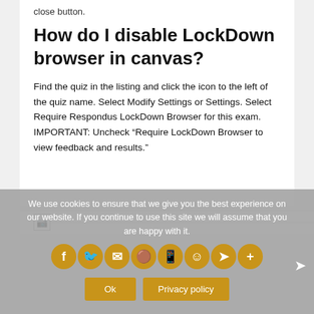close button.
How do I disable LockDown browser in canvas?
Find the quiz in the listing and click the icon to the left of the quiz name. Select Modify Settings or Settings. Select Require Respondus LockDown Browser for this exam. IMPORTANT: Uncheck “Require LockDown Browser to view feedback and results.”
[Figure (other): Broken image placeholder with horizontal line extending to the right]
We use cookies to ensure that we give you the best experience on our website. If you continue to use this site we will assume that you are happy with it.